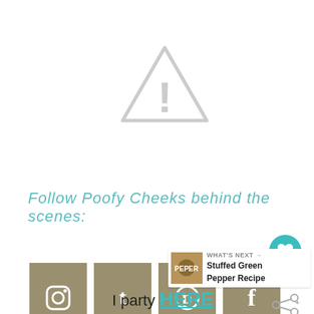[Figure (illustration): Gray warning triangle with exclamation mark (broken image placeholder icon)]
Follow Poofy Cheeks behind the scenes:
[Figure (illustration): Four burlap-style banner flag social media icons: Instagram, Tumblr, Pinterest, Facebook]
[Figure (illustration): Teal heart like button with count 6 and share icon]
[Figure (illustration): What's Next box showing Stuffed Green Pepper Recipe]
I party HERE